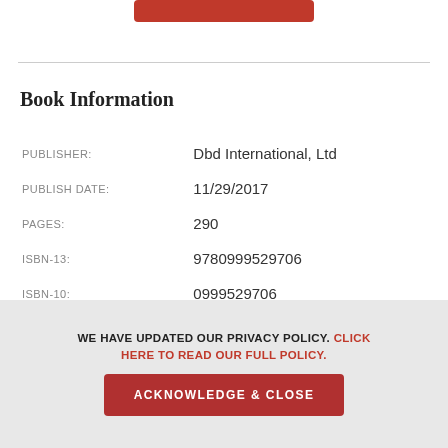[Figure (other): Red 'ADD TO CART' button partially visible at top of page]
Book Information
| Field | Value |
| --- | --- |
| PUBLISHER: | Dbd International, Ltd |
| PUBLISH DATE: | 11/29/2017 |
| PAGES: | 290 |
| ISBN-13: | 9780999529706 |
| ISBN-10: | 0999529706 |
| LANGUAGE: | English |
WE HAVE UPDATED OUR PRIVACY POLICY. CLICK HERE TO READ OUR FULL POLICY.
ACKNOWLEDGE & CLOSE